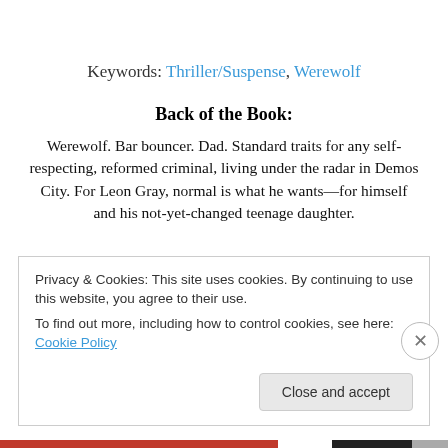Keywords: Thriller/Suspense, Werewolf
Back of the Book:
Werewolf. Bar bouncer. Dad. Standard traits for any self-respecting, reformed criminal, living under the radar in Demos City. For Leon Gray, normal is what he wants—for himself and his not-yet-changed teenage daughter.
Privacy & Cookies: This site uses cookies. By continuing to use this website, you agree to their use.
To find out more, including how to control cookies, see here: Cookie Policy